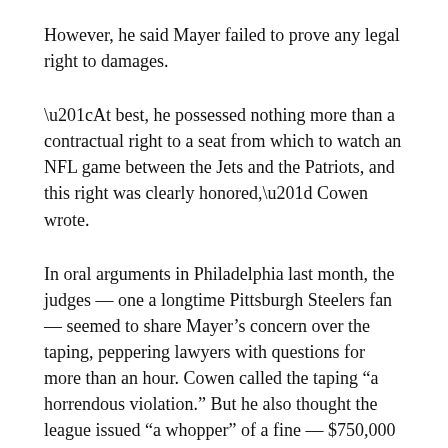However, he said Mayer failed to prove any legal right to damages.
“At best, he possessed nothing more than a contractual right to a seat from which to watch an NFL game between the Jets and the Patriots, and this right was clearly honored,” Cowen wrote.
In oral arguments in Philadelphia last month, the judges — one a longtime Pittsburgh Steelers fan — seemed to share Mayer’s concern over the taping, peppering lawyers with questions for more than an hour. Cowen called the taping “a horrendous violation.” But he also thought the league issued “a whopper” of a fine — $750,000 — against the Patriots and coach Bill Belichick after they were caught taping signals at the Jets’ 2007 home opener in Giants Stadium.